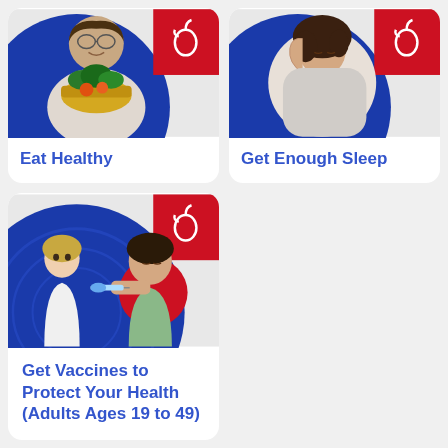[Figure (photo): Older man smiling and holding a basket of fresh vegetables and fruits, with blue circular graphic and red square with apple icon in background]
Eat Healthy
[Figure (photo): Young woman coughing into her elbow, with blue circular graphic and red square with apple icon in background]
Get Enough Sleep
[Figure (photo): Female healthcare worker administering a vaccine injection to a male patient, with blue circular graphic and red square with apple icon in background]
Get Vaccines to Protect Your Health (Adults Ages 19 to 49)